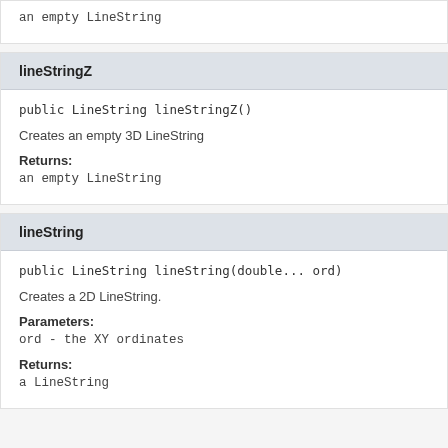an empty LineString
lineStringZ
public LineString lineStringZ()
Creates an empty 3D LineString
Returns:
an empty LineString
lineString
public LineString lineString(double... ord)
Creates a 2D LineString.
Parameters:
ord - the XY ordinates
Returns:
a LineString